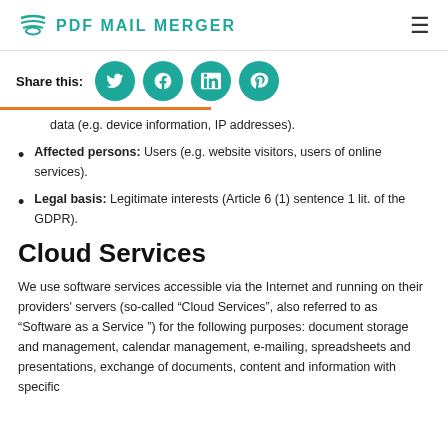PDF MAIL MERGER
[Figure (other): Share this bar with social media icons: Twitter, Facebook, LinkedIn, Pinterest]
data (e.g. device information, IP addresses).
Affected persons: Users (e.g. website visitors, users of online services).
Legal basis: Legitimate interests (Article 6 (1) sentence 1 lit. of the GDPR).
Cloud Services
We use software services accessible via the Internet and running on their providers' servers (so-called "Cloud Services", also referred to as "Software as a Service ") for the following purposes: document storage and management, calendar management, e-mailing, spreadsheets and presentations, exchange of documents, content and information with specific